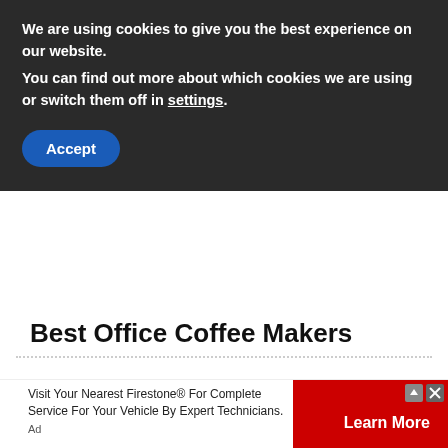We are using cookies to give you the best experience on our website.
You can find out more about which cookies we are using or switch them off in settings.
Accept
Best Office Coffee Makers
Best Bar Pressure Coffee Makers
Visit Your Nearest Firestone® For Complete Service For Your Vehicle By Expert Technicians.
Ad
Learn More